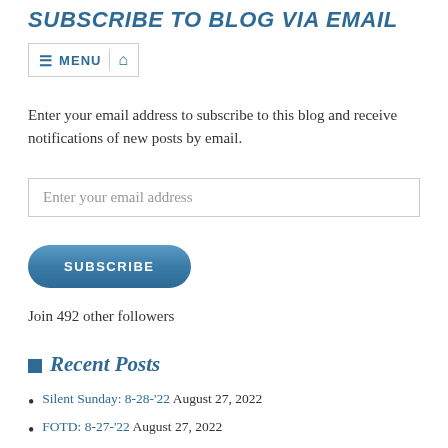SUBSCRIBE TO BLOG VIA EMAIL
[Figure (screenshot): Navigation bar with hamburger menu icon, MENU text, and home icon]
Enter your email address to subscribe to this blog and receive notifications of new posts by email.
Enter your email address
SUBSCRIBE
Join 492 other followers
Recent Posts
Silent Sunday: 8-28-'22 August 27, 2022
FOTD: 8-27-'22 August 27, 2022
Finally, a beach sand castle or something like that August 26, 2022